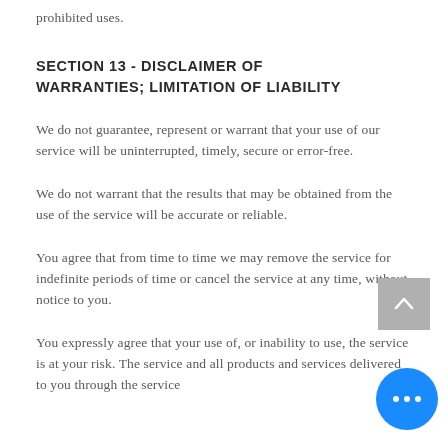prohibited uses.
SECTION 13 - DISCLAIMER OF WARRANTIES; LIMITATION OF LIABILITY
We do not guarantee, represent or warrant that your use of our service will be uninterrupted, timely, secure or error-free.
We do not warrant that the results that may be obtained from the use of the service will be accurate or reliable.
You agree that from time to time we may remove the service for indefinite periods of time or cancel the service at any time, without notice to you.
You expressly agree that your use of, or inability to use, the service is at your risk. The service and all products and services delivered to you through the service